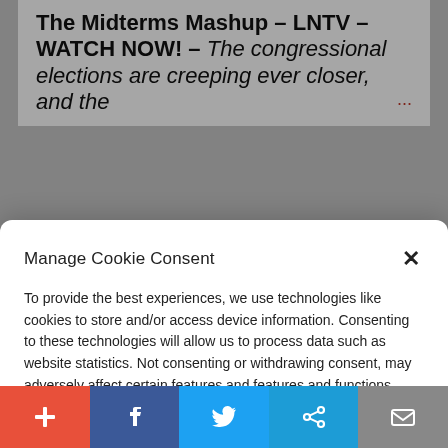The Midterms Mashup – LNTV – WATCH NOW! – The congressional elections are creeping ever closer, and the ...
Manage Cookie Consent
To provide the best experiences, we use technologies like cookies to store and/or access device information. Consenting to these technologies will allow us to process data such as website statistics. Not consenting or withdrawing consent, may adversely affect certain features and functions.
Accept
Cookie Policy  Privacy Policy